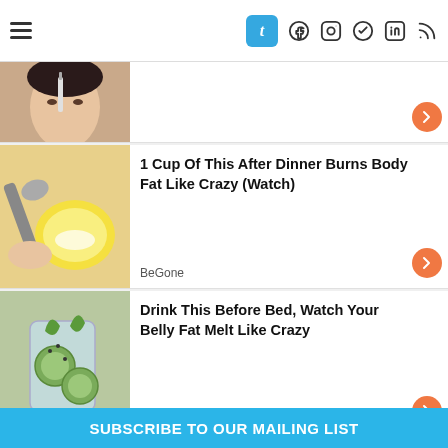Tumblr, Facebook, Instagram, Telegram, LinkedIn, RSS
[Figure (photo): Partial card showing a woman applying something near her nose with a brush]
[Figure (photo): A person squeezing a lemon with baking soda]
1 Cup Of This After Dinner Burns Body Fat Like Crazy (Watch)
BeGone
[Figure (photo): A glass of water with cucumber and herbs]
Drink This Before Bed, Watch Your Belly Fat Melt Like Crazy
BeGone
[Figure (photo): An older blonde woman]
74-year-old Grandma Shocked Doctors: Forget About Botox, Do This!
SUBSCRIBE TO OUR MAILING LIST